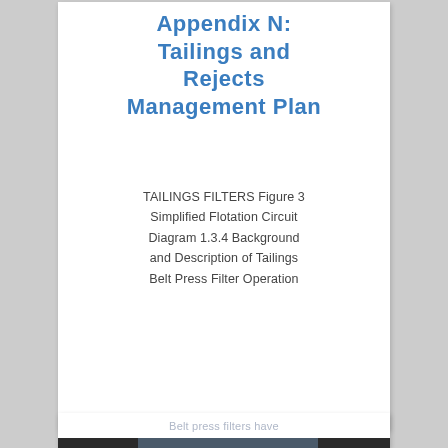Appendix N: Tailings and Rejects Management Plan
TAILINGS FILTERS Figure 3 Simplified Flotation Circuit Diagram 1.3.4 Background and Description of Tailings Belt Press Filter Operation
Belt press filters have
[Figure (photo): Industrial photograph of a large belt press filter machine inside a facility with a corrugated metal roof structure. Heavy industrial equipment with yellow safety railings and metal framework visible.]